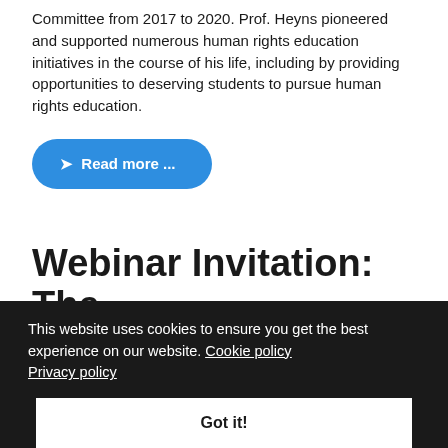Committee from 2017 to 2020. Prof. Heyns pioneered and supported numerous human rights education initiatives in the course of his life, including by providing opportunities to deserving students to pursue human rights education.
❯ Read more ...
Webinar Invitation: The
This website uses cookies to ensure you get the best experience on our website. Cookie policy Privacy policy
Got it!